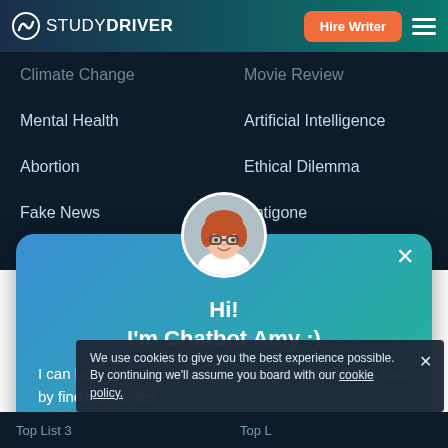STUDYDRIVER — Hire Writer
Climate Change
Movie Review
Mental Health
Artificial Intelligence
Abortion
Ethical Dilemma
Fake News
Antigone
Slavery
Domestic Violence
[Figure (illustration): Chatbot Amy avatar — cartoon woman with red hair and glasses]
Hi!
I'm Chatbot Amy :)
I can help you save hours on your homework. Let's start by finding a writer.
Find Writer
We use cookies to give you the best experience possible. By continuing we'll assume you board with our cookie policy.
Top List 3   Top List
Top List 3
Top List